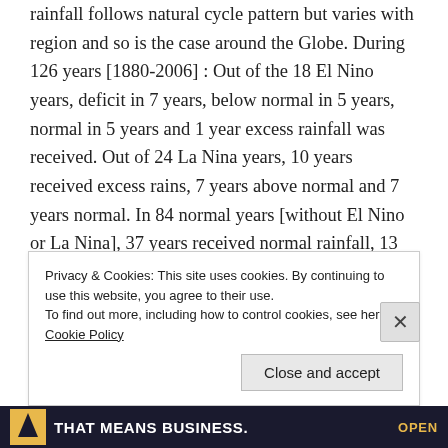rainfall follows natural cycle pattern but varies with region and so is the case around the Globe. During 126 years [1880-2006] : Out of the 18 El Nino years, deficit in 7 years, below normal in 5 years, normal in 5 years and 1 year excess rainfall was received. Out of 24 La Nina years, 10 years received excess rains, 7 years above normal and 7 years normal. In 84 normal years [without El Nino or La Nina], 37 years received normal rainfall, 13 years below normal, 14 years deficit, 14 years above normal and 6 years excess. In 126 years, deficit rainfall was recorded
Privacy & Cookies: This site uses cookies. By continuing to use this website, you agree to their use.
To find out more, including how to control cookies, see here: Cookie Policy